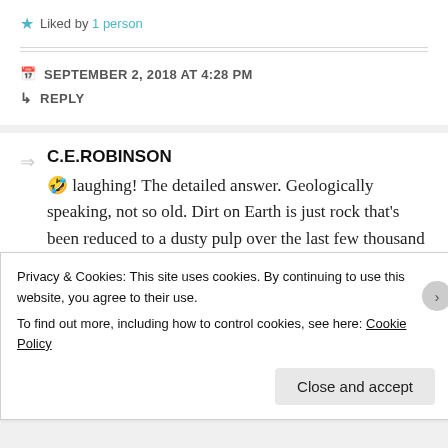★ Liked by 1 person
SEPTEMBER 2, 2018 AT 4:28 PM
↳ REPLY
C.E.ROBINSON
🤣 laughing! The detailed answer. Geologically speaking, not so old. Dirt on Earth is just rock that's been reduced to a dusty pulp over the last few thousand years. Now if
Privacy & Cookies: This site uses cookies. By continuing to use this website, you agree to their use.
To find out more, including how to control cookies, see here: Cookie Policy